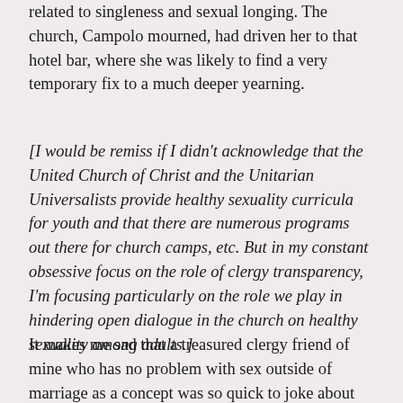related to singleness and sexual longing. The church, Campolo mourned, had driven her to that hotel bar, where she was likely to find a very temporary fix to a much deeper yearning.
[I would be remiss if I didn't acknowledge that the United Church of Christ and the Unitarian Universalists provide healthy sexuality curricula for youth and that there are numerous programs out there for church camps, etc. But in my constant obsessive focus on the role of clergy transparency, I'm focusing particularly on the role we play in hindering open dialogue in the church on healthy sexuality among adults.]
It makes me sad that a treasured clergy friend of mine who has no problem with sex outside of marriage as a concept was so quick to joke about the virtue of a